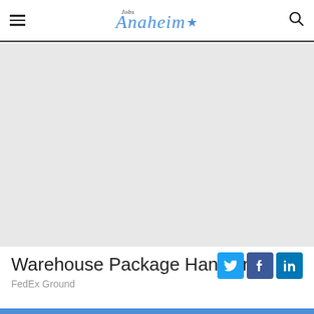Jobs Anaheim★
[Figure (other): Large grey advertisement or image placeholder area below the navigation header]
Warehouse Package Handler
FedEx Ground
[Figure (other): Social share buttons: Twitter (blue bird), Facebook (blue f), LinkedIn (blue in)]